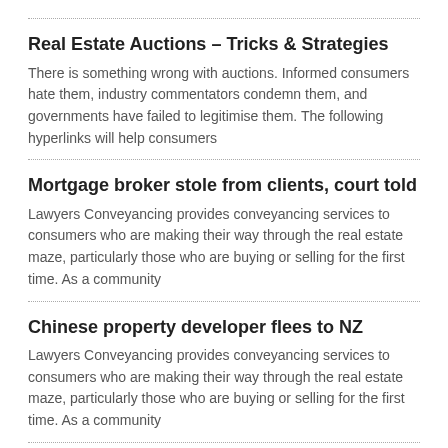Real Estate Auctions – Tricks & Strategies
There is something wrong with auctions. Informed consumers hate them, industry commentators condemn them, and governments have failed to legitimise them. The following hyperlinks will help consumers
Mortgage broker stole from clients, court told
Lawyers Conveyancing provides conveyancing services to consumers who are making their way through the real estate maze, particularly those who are buying or selling for the first time. As a community
Chinese property developer flees to NZ
Lawyers Conveyancing provides conveyancing services to consumers who are making their way through the real estate maze, particularly those who are buying or selling for the first time. As a community
‘Self-pitying’ lawyer struck off
Lawyers Conveyancing provides conveyancing services to consumers who are making their way through the real estate maze, particularly